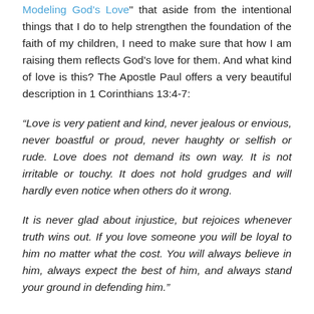Modeling God's Love" that aside from the intentional things that I do to help strengthen the foundation of the faith of my children, I need to make sure that how I am raising them reflects God's love for them. And what kind of love is this? The Apostle Paul offers a very beautiful description in 1 Corinthians 13:4-7:
“Love is very patient and kind, never jealous or envious, never boastful or proud, never haughty or selfish or rude. Love does not demand its own way. It is not irritable or touchy. It does not hold grudges and will hardly even notice when others do it wrong.
It is never glad about injustice, but rejoices whenever truth wins out. If you love someone you will be loyal to him no matter what the cost. You will always believe in him, always expect the best of him, and always stand your ground in defending him.”